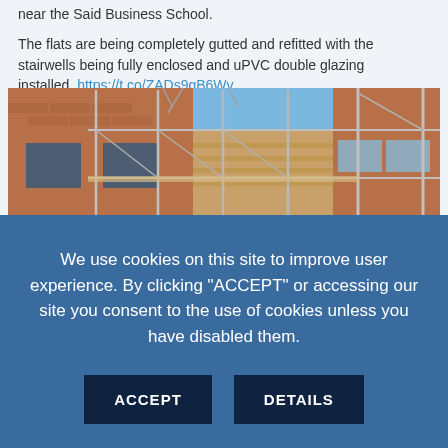near the Said Business School.
The flats are being completely gutted and refitted with the stairwells being fully enclosed and uPVC double glazing installed. https://t.co/ZADs9gB6Wv
[Figure (photo): Photograph of a brick building with scaffolding erected along its facade, taken from below against a blue sky. Workers or construction equipment visible on the scaffolding. Windows visible on the building.]
We use cookies on this site to improve user experience. By clicking “ACCEPT” or accessing our site you consent to the use of cookies unless you have disabled them.